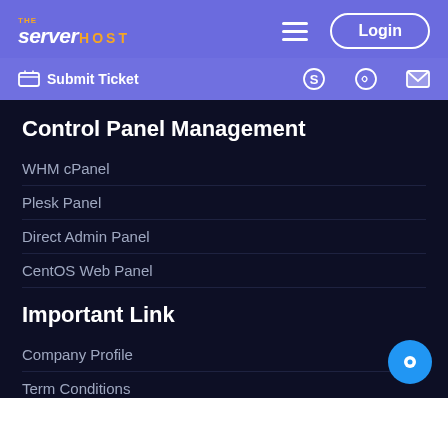THE ServerHost - Navigation bar with Login button
Submit Ticket | Skype | WhatsApp | Email
Control Panel Management
WHM cPanel
Plesk Panel
Direct Admin Panel
CentOS Web Panel
Important Link
Company Profile
Term Conditions
IP Latency Test
Cancellation Refund